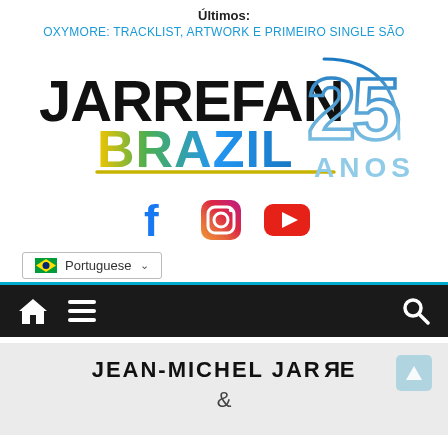Últimos:
OXYMORE: TRACKLIST, ARTWORK E PRIMEIRO SINGLE SÃO
[Figure (logo): JARREFAN BRAZIL 25 ANOS logo with colorful gradient text and decorative arc]
[Figure (illustration): Social media icons: Facebook (blue f), Instagram (camera icon with gradient), YouTube (red play button)]
Portuguese (language selector dropdown with Brazilian flag)
[Figure (infographic): Dark navigation bar with home icon, hamburger menu icon on left, search icon on right, teal top border]
[Figure (logo): JEAN-MICHEL JARRE & logo on light grey background]